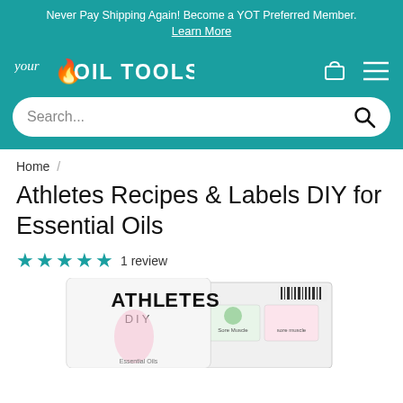Never Pay Shipping Again! Become a YOT Preferred Member. Learn More
[Figure (logo): Your Oil Tools logo with flame icon and text]
Search...
Home /
Athletes Recipes & Labels DIY for Essential Oils
★★★★★ 1 review
[Figure (photo): Product photo showing Athletes DIY Essential Oils recipe book and label cards]